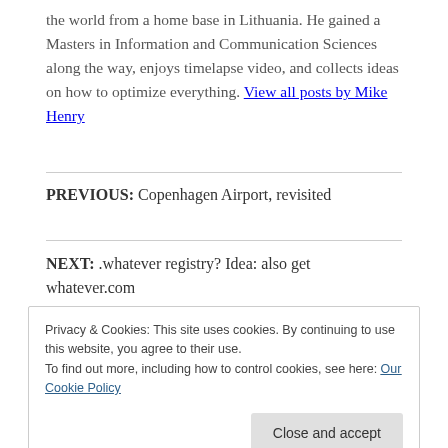the world from a home base in Lithuania. He gained a Masters in Information and Communication Sciences along the way, enjoys timelapse video, and collects ideas on how to optimize everything. View all posts by Mike Henry
PREVIOUS: Copenhagen Airport, revisited
NEXT: .whatever registry? Idea: also get whatever.com
Privacy & Cookies: This site uses cookies. By continuing to use this website, you agree to their use.
To find out more, including how to control cookies, see here: Our Cookie Policy